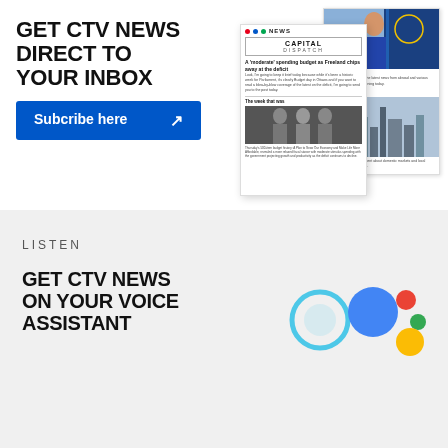GET CTV NEWS DIRECT TO YOUR INBOX
[Figure (screenshot): CTV News Capital Dispatch newsletter preview showing headline 'A moderate spending budget as Freeland chips away at the deficit' with photo of politicians]
Subcribe here →
LISTEN
GET CTV NEWS ON YOUR VOICE ASSISTANT
[Figure (logo): Amazon Alexa and Google Assistant voice assistant logos]